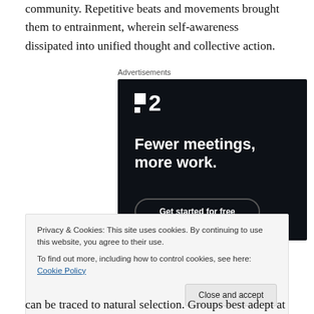community. Repetitive beats and movements brought them to entrainment, wherein self-awareness dissipated into unified thought and collective action.
[Figure (other): Advertisement banner for a project management app (Plan 2 / P2) with dark background showing logo, headline 'Fewer meetings, more work.' and a 'Get started for free' button.]
Privacy & Cookies: This site uses cookies. By continuing to use this website, you agree to their use.
To find out more, including how to control cookies, see here: Cookie Policy
can be traced to natural selection. Groups best adept at